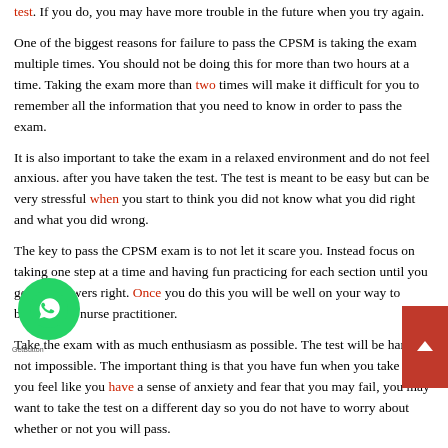test. If you do, you may have more trouble in the future when you try again.
One of the biggest reasons for failure to pass the CPSM is taking the exam multiple times. You should not be doing this for more than two hours at a time. Taking the exam more than two times will make it difficult for you to remember all the information that you need to know in order to pass the exam.
It is also important to take the exam in a relaxed environment and do not feel anxious. after you have taken the test. The test is meant to be easy but can be very stressful when you start to think you did not know what you did right and what you did wrong.
The key to pass the CPSM exam is to not let it scare you. Instead focus on taking one step at a time and having fun practicing for each section until you get the answers right. Once you do this you will be well on your way to becoming a nurse practitioner.
Take the exam with as much enthusiasm as possible. The test will be hard but not impossible. The important thing is that you have fun when you take it. If you feel like you have a sense of anxiety and fear that you may fail, you may want to take the test on a different day so you do not have to worry about whether or not you will pass.